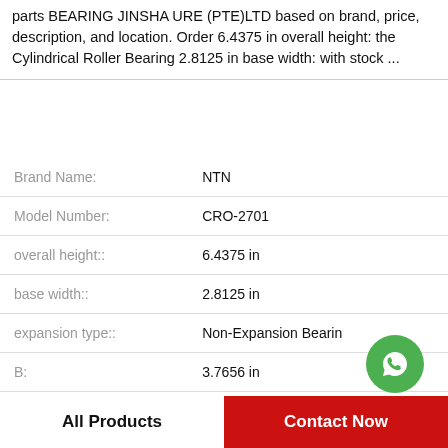parts BEARING JINSHA URE (PTE)LTD based on brand, price, description, and location. Order 6.4375 in overall height: the Cylindrical Roller Bearing 2.8125 in base width: with stock ...
| Attribute | Value |
| --- | --- |
| Brand Name: | NTN |
| Model Number: | CRO-2701 |
| overall height:: | 6.4375 in |
| base width:: | 2.8125 in |
| expansion type:: | Non-Expansion Bearin |
| B: | 3.7656 in |
| housing material:: | Cast Iron |
|  |  |
[Figure (logo): WhatsApp Online green circle icon with phone handset and text WhatsApp Online below]
All Products
Contact Now